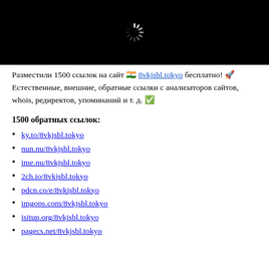[Figure (screenshot): Black rectangle with a loading spinner icon in the center]
Разместили 1500 ссылок на сайт 🇮🇳 8vkjsbl.tokyo бесплатно! 🚀 Естественные, внешние, обратные ссылки с анализаторов сайтов, whois, редиректов, упоминаний и т. д. ✅
1500 обратных ссылок:
ky.to/8vkjsbl.tokyo
nun.nu/8vkjsbl.tokyo
ime.nu/8vkjsbl.tokyo
2ch.io/8vkjsbl.tokyo
pdcn.co/e/8vkjsbl.tokyo
imgops.com/8vkjsbl.tokyo
isitup.org/8vkjsbl.tokyo
pagecs.net/8vkjsbl.tokyo